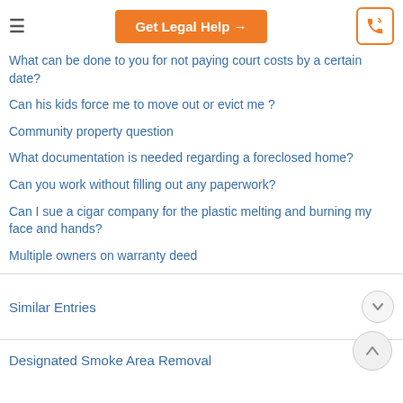Get Legal Help →
What can be done to you for not paying court costs by a certain date?
Can his kids force me to move out or evict me ?
Community property question
What documentation is needed regarding a foreclosed home?
Can you work without filling out any paperwork?
Can I sue a cigar company for the plastic melting and burning my face and hands?
Multiple owners on warranty deed
Similar Entries
Designated Smoke Area Removal